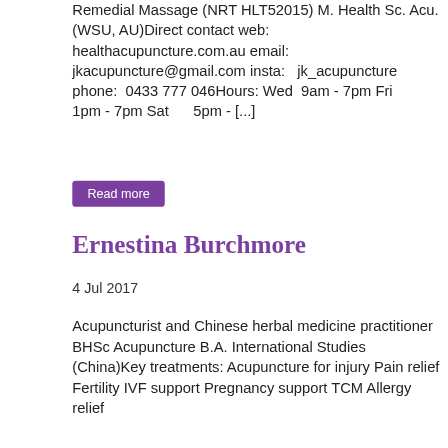Remedial Massage (NRT HLT52015) M. Health Sc. Acu. (WSU, AU)Direct contact web:      healthacupuncture.com.au email:  jkacupuncture@gmail.com insta:   jk_acupuncture phone:  0433 777 046Hours: Wed  9am - 7pm Fri      1pm - 7pm Sat      5pm - [...]
Read more
Ernestina Burchmore
4 Jul 2017
Acupuncturist and Chinese herbal medicine practitioner BHSc Acupuncture B.A. International Studies (China)Key treatments: Acupuncture for injury Pain relief Fertility IVF support Pregnancy support TCM Allergy relief